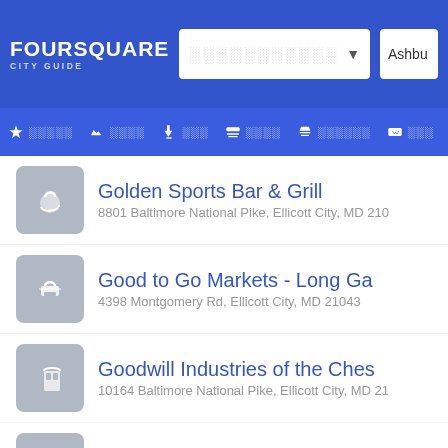FOURSQUARE CITY GUIDE
Golden Sports Bar & Grill — 8801 Baltimore National Pike, Ellicott City, MD 21...
Good to Go Markets - Long Ga... — 4398 Montgomery Rd, Ellicott City, MD 21043
Goodwill Industries of the Ches... — 10164 Baltimore National Pike, Ellicott City, MD 21...
Great Harvest Bread Company — 8835 Centre Park Dr (at Columbia 100 Pkwy), ░░░░...
Greek on the Street — ░░░░░, MD
(partial listing)